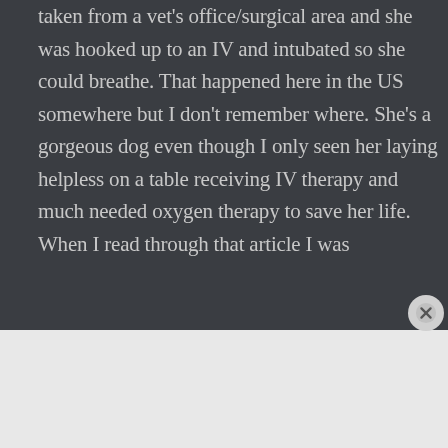taken from a vet's office/surgical area and she was hooked up to an IV and intubated so she could breathe. That happened here in the US somewhere but I don't remember where. She's a gorgeous dog even though I only seen her laying helpless on a table receiving IV therapy and much needed oxygen therapy to save her life. When I read through that article I was
[Figure (screenshot): DuckDuckGo advertisement banner with orange background. Text reads: 'Search, browse, and email with more privacy. All in One Free App'. Shows a phone with DuckDuckGo logo.]